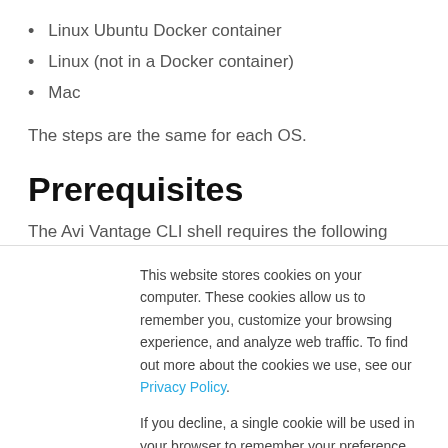Linux Ubuntu Docker container
Linux (not in a Docker container)
Mac
The steps are the same for each OS.
Prerequisites
The Avi Vantage CLI shell requires the following software:
This website stores cookies on your computer. These cookies allow us to remember you, customize your browsing experience, and analyze web traffic. To find out more about the cookies we use, see our Privacy Policy.
If you decline, a single cookie will be used in your browser to remember your preference not to be tracked.